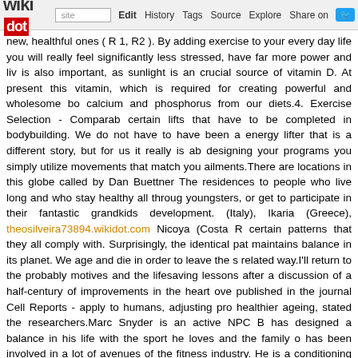wikidot | site | Edit | History | Tags | Source | Explore | Share on Twitter
new, healthful ones ( R 1, R2 ). By adding exercise to your every day life you will really feel significantly less stressed, have far more power and live is also important, as sunlight is an crucial source of vitamin D. At present this vitamin, which is required for creating powerful and wholesome bo calcium and phosphorus from our diets.4. Exercise Selection - Compara certain lifts that have to be completed in bodybuilding. We do not have to have been a energy lifter that is a different story, but for us it really is ab designing your programs you simply utilize movements that match you ailments.There are locations in this globe called by Dan Buettner The residences to people who live long and who stay healthy all throug youngsters, or get to participate in their fantastic grandkids development. (Italy), Ikaria (Greece), theosilveira73894.wikidot.com Nicoya (Costa R certain patterns that they all comply with. Surprisingly, the identical pat maintains balance in its planet. We age and die in order to leave the s related way.I'll return to the probably motives and the lifesaving lessons after a discussion of a half-century of improvements in the heart ove published in the journal Cell Reports - apply to humans, adjusting pro healthier ageing, stated the researchers.Marc Snyder is an active NPC B has designed a balance in his life with the sport he loves and the family o has been involved in a lot of avenues of the fitness industry. He is a conditioning coach. He also has encounter in clinical physical exercise ph two years.In a assessment of more than 160 research, published in th compelling proof indicate that content (grayghost87.bloguetrotter.biz) m longer and knowledge better wellness than their unhappy peers. So, wh Williams it's feeling like a room without a roof". That cosy feeling inside m Satisfied people reside longer simply because their heart price is red pressure hormone, cortisol. Researchers located that emotional vitality optimism and obtaining a support network of household and buddies help